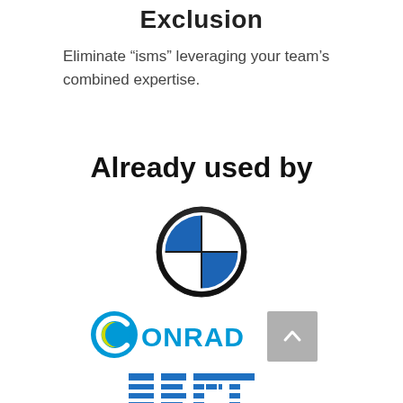Exclusion
Eliminate “isms” leveraging your team’s combined expertise.
Already used by
[Figure (logo): BMW circular logo with blue and white quadrants and black ring]
[Figure (logo): Conrad Electronics logo in blue with yellow/green C and blue stylized text ONRAD]
[Figure (logo): IBM logo in blue horizontal striped letters]